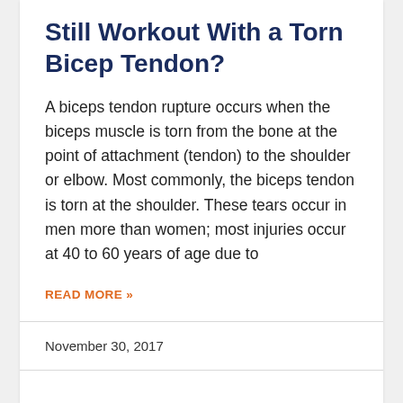Still Workout With a Torn Bicep Tendon?
A biceps tendon rupture occurs when the biceps muscle is torn from the bone at the point of attachment (tendon) to the shoulder or elbow. Most commonly, the biceps tendon is torn at the shoulder. These tears occur in men more than women; most injuries occur at 40 to 60 years of age due to
READ MORE »
November 30, 2017